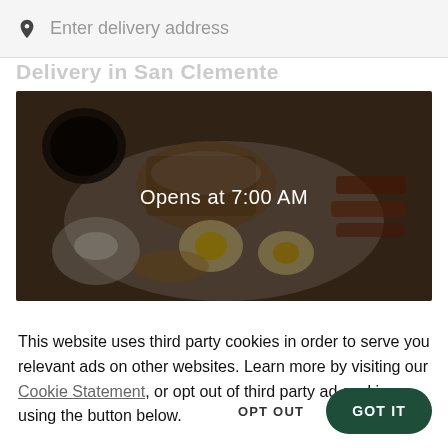Enter delivery address
Delivery in San Clemente
[Figure (photo): Overhead photo of a breakfast plate with fried eggs, French toast, and bacon, with a cup of coffee. Overlay text reads 'Opens at 7:00 AM'.]
This website uses third party cookies in order to serve you relevant ads on other websites. Learn more by visiting our Cookie Statement, or opt out of third party ad cookies using the button below.
OPT OUT
GOT IT